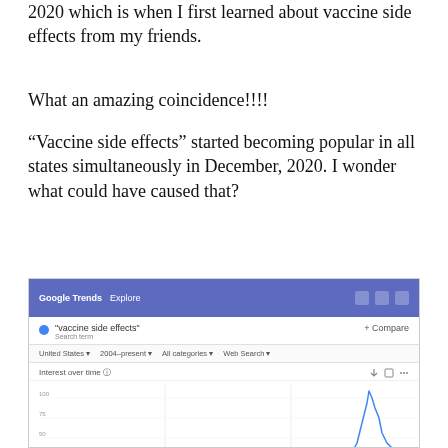2020 which is when I first learned about vaccine side effects from my friends.
What an amazing coincidence!!!!
"Vaccine side effects" started becoming popular in all states simultaneously in December, 2020. I wonder what could have caused that?
[Figure (screenshot): Google Trends screenshot showing search interest over time for 'vaccine side effects' from 2004 to present, with a sharp spike around late 2020/early 2021.]